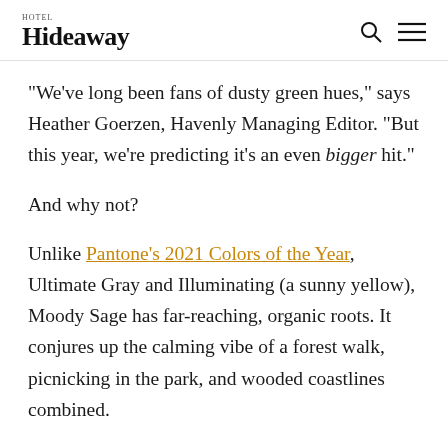Hideaway
"We've long been fans of dusty green hues," says Heather Goerzen, Havenly Managing Editor. "But this year, we're predicting it's an even bigger hit."
And why not?
Unlike Pantone's 2021 Colors of the Year, Ultimate Gray and Illuminating (a sunny yellow), Moody Sage has far-reaching, organic roots. It conjures up the calming vibe of a forest walk, picnicking in the park, and wooded coastlines combined.
In other words, Moody Sage effortlessly connects a